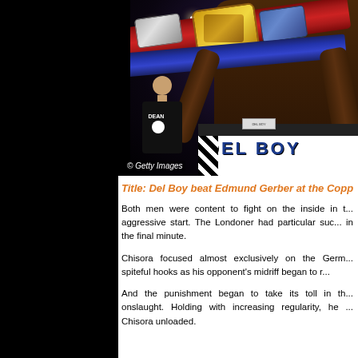[Figure (photo): Boxing match photo showing a boxer in 'DEL BOY' shorts holding championship belts aloft, with a trainer in a black 'DEAN' shirt visible in the background. Getty Images watermark visible.]
Title: Del Boy beat Edmund Gerber at the Copp...
Both men were content to fight on the inside in t... aggressive start. The Londoner had particular suc... in the final minute.
Chisora focused almost exclusively on the Germ... spiteful hooks as his opponent's midriff began to r...
And the punishment began to take its toll in th... onslaught. Holding with increasing regularity, he ... Chisora unloaded.